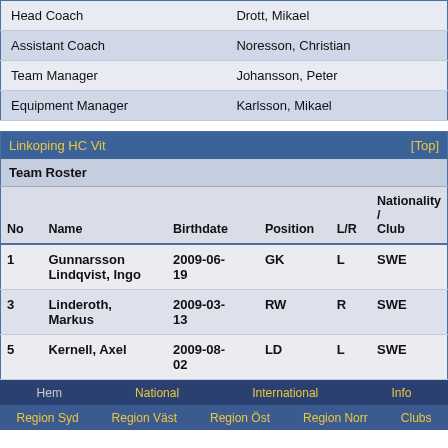| Role | Name |
| --- | --- |
| Head Coach | Drott, Mikael |
| Assistant Coach | Noresson, Christian |
| Team Manager | Johansson, Peter |
| Equipment Manager | Karlsson, Mikael |
| Linkoping HC Vit | [Top] |  |  |  |  |
| --- | --- | --- | --- | --- | --- |
| Team Roster |  |  |  |  |  |
| No | Name | Birthdate | Position | L/R | Nationality / Club |
| 1 | Gunnarsson Lindqvist, Ingo | 2009-06-19 | GK | L | SWE |
| 3 | Linderoth, Markus | 2009-03-13 | RW | R | SWE |
| 5 | Kernell, Axel | 2009-08-02 | LD | L | SWE |
Hem   National   International   Info
Region Syd   Region Väst   Region Öst   Region Norr   Clubs